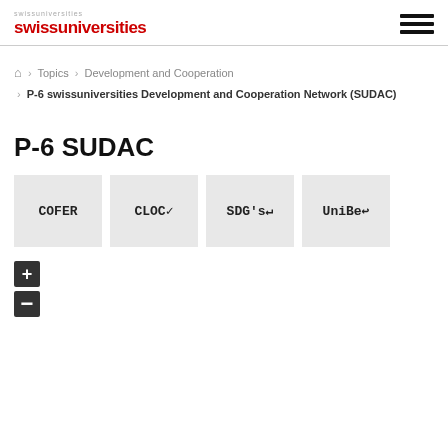swissuniversities
Home > Topics > Development and Cooperation > P-6 swissuniversities Development and Cooperation Network (SUDAC)
P-6 SUDAC
[Figure (other): Four grey square cards labeled COFER, CLOC, SDG's, UniBe]
[Figure (other): Zoom controls: plus and minus buttons]